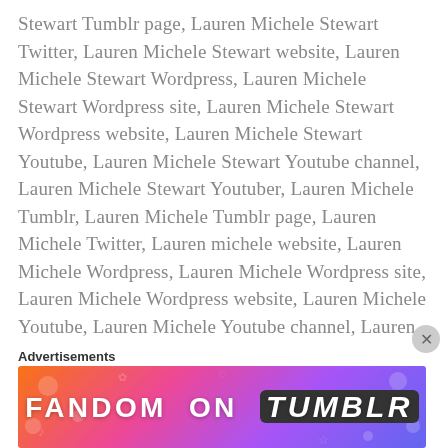Stewart Tumblr page, Lauren Michele Stewart Twitter, Lauren Michele Stewart website, Lauren Michele Stewart Wordpress, Lauren Michele Stewart Wordpress site, Lauren Michele Stewart Wordpress website, Lauren Michele Stewart Youtube, Lauren Michele Stewart Youtube channel, Lauren Michele Stewart Youtuber, Lauren Michele Tumblr, Lauren Michele Tumblr page, Lauren Michele Twitter, Lauren michele website, Lauren Michele Wordpress, Lauren Michele Wordpress site, Lauren Michele Wordpress website, Lauren Michele Youtube, Lauren Michele Youtube channel, Lauren Michele Youtuber, Lauren Pin, Lauren Pinner, Lauren Pins, Lauren Pinterest, Lauren snap, Lauren Snapchat, Lauren snapper, Lauren snaps, Lauren Stewart, Lauren Stewart art, lauren Stewart art blog, Lauren Stewart art blogger, Lauren Stewart blog, Lauren Stewart blogger, Lauren Stewart Good Book...
Advertisements
[Figure (other): Fandom on Tumblr advertisement banner with colorful gradient background (orange, pink, purple) and white bold text reading FANDOM ON tumblr]